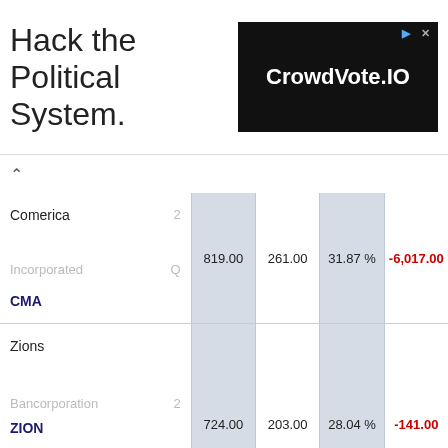[Figure (other): Advertisement banner: 'Hack the Political System.' with CrowdVote.IO logo on black background]
| Company | Ticker | Col1 | Col2 | Col3 | Col4 |
| --- | --- | --- | --- | --- | --- |
| Comerica Incorporated 2 Q | CMA | 819.00 | 261.00 | 31.87 % | -6,017.00 |
| Zions Bancorporation 2 National Q Association | ZION | 724.00 | 203.00 | 28.04 % | -141.00 |
| First Horizon 2 | FHN | 713.00 | 177.00 | 24.82 % | -20.00 |